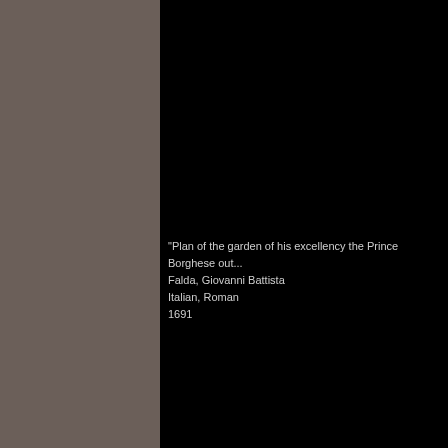[Figure (other): Two-panel layout: left panel is a brownish-gray color, right panel is black with catalog text overlaid]
"Plan of the garden of his excellency the Prince Borghese out...
Falda, Giovanni Battista
Italian, Roman
1691